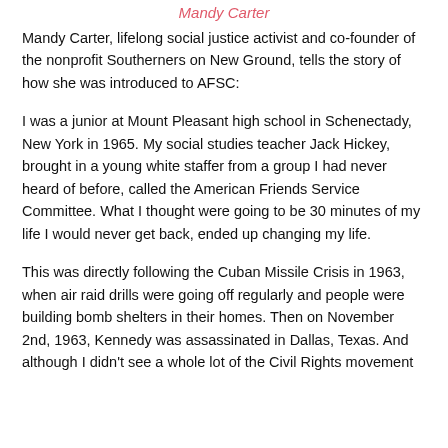Mandy Carter
Mandy Carter, lifelong social justice activist and co-founder of the nonprofit Southerners on New Ground, tells the story of how she was introduced to AFSC:
I was a junior at Mount Pleasant high school in Schenectady, New York in 1965. My social studies teacher Jack Hickey, brought in a young white staffer from a group I had never heard of before, called the American Friends Service Committee. What I thought were going to be 30 minutes of my life I would never get back, ended up changing my life.
This was directly following the Cuban Missile Crisis in 1963, when air raid drills were going off regularly and people were building bomb shelters in their homes. Then on November 2nd, 1963, Kennedy was assassinated in Dallas, Texas. And although I didn't see a whole lot of the Civil Rights movement